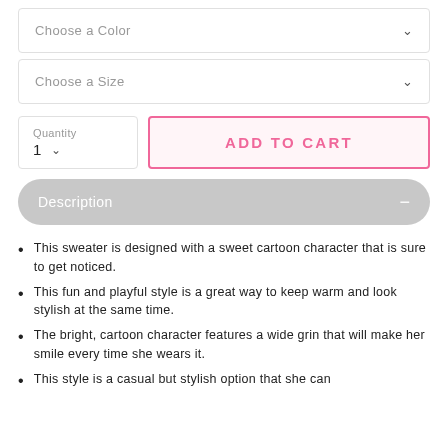Choose a Color
Choose a Size
Quantity
1
ADD TO CART
Description
This sweater is designed with a sweet cartoon character that is sure to get noticed.
This fun and playful style is a great way to keep warm and look stylish at the same time.
The bright, cartoon character features a wide grin that will make her smile every time she wears it.
This style is a casual but stylish option that she can